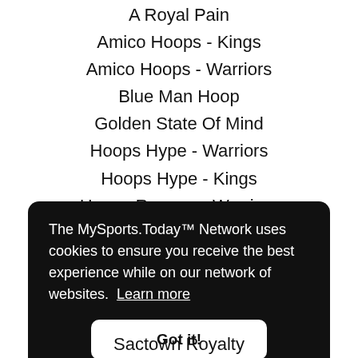A Royal Pain
Amico Hoops - Kings
Amico Hoops - Warriors
Blue Man Hoop
Golden State Of Mind
Hoops Hype - Warriors
Hoops Hype - Kings
Hoops Rumors - Warriors
Hoops Rumors - Kings
Lets Go Warriors
The MySports.Today™ Network uses cookies to ensure you receive the best experience while on our network of websites. Learn more
Sactown Royalty